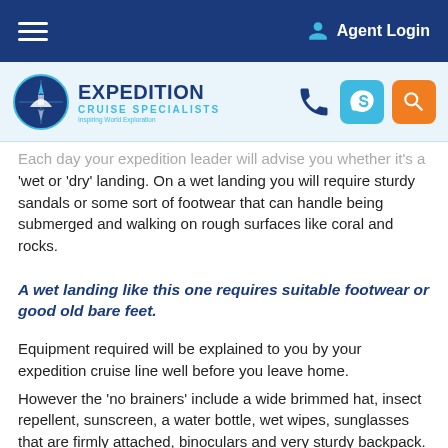Agent Login
[Figure (logo): Expedition Cruise Specialists logo with compass/ship icon, phone, Skype, and search icons]
Each day your expedition leader will advise you whether it's a 'wet or 'dry' landing. On a wet landing you will require sturdy sandals or some sort of footwear that can handle being submerged and walking on rough surfaces like coral and rocks.
A wet landing like this one requires suitable footwear or good old bare feet.
Equipment required will be explained to you by your expedition cruise line well before you leave home.
However the 'no brainers' include a wide brimmed hat, insect repellent, sunscreen, a water bottle, wet wipes, sunglasses that are firmly attached, binoculars and very sturdy backpack.